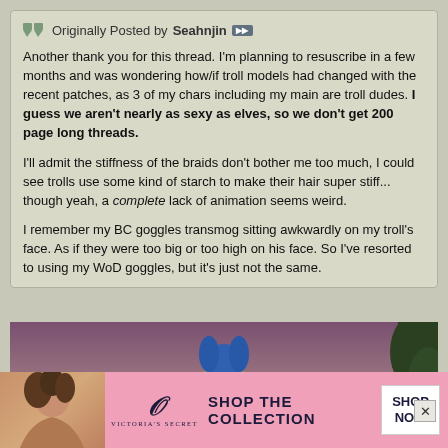Originally Posted by Seahnjin
Another thank you for this thread. I'm planning to resuscribe in a few months and was wondering how/if troll models had changed with the recent patches, as 3 of my chars including my main are troll dudes. I guess we aren't nearly as sexy as elves, so we don't get 200 page long threads.

I'll admit the stiffness of the braids don't bother me too much, I could see trolls use some kind of starch to make their hair super stiff... though yeah, a complete lack of animation seems weird.

I remember my BC goggles transmog sitting awkwardly on my troll's face. As if they were too big or too high on his face. So I've resorted to using my WoD goggles, but it's just not the same.
[Figure (screenshot): Screenshot from a video game (World of Warcraft) showing a troll character with blue hair and goggles against a purple/mauve sky background with dark tree silhouettes]
[Figure (photo): Victoria's Secret advertisement banner featuring a woman with curly hair, the VS logo, and text reading SHOP THE COLLECTION with a SHOP NOW button]